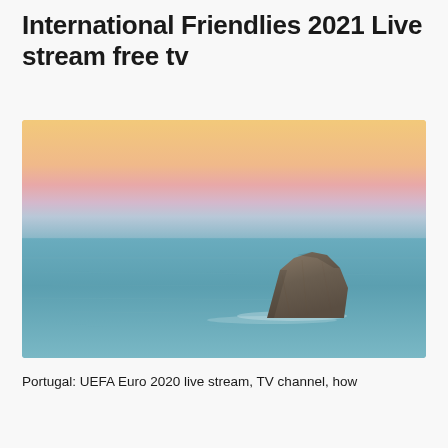International Friendlies 2021 Live stream free tv
[Figure (photo): Photograph of a calm sea at dusk with a large rock formation in the foreground-right area. The sky transitions from warm yellow/orange at the top to soft pink and pale lavender near the horizon. The water is a muted teal-blue. The lone rock is dark grey-brown and rugged.]
Portugal: UEFA Euro 2020 live stream, TV channel, how